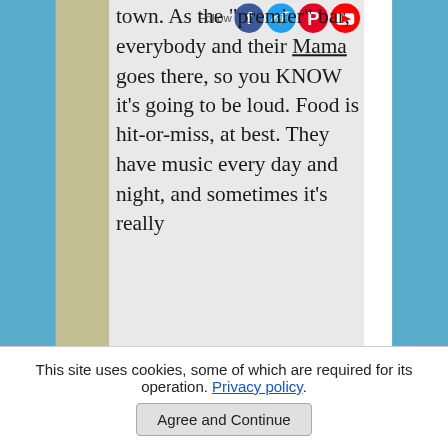town.  As the "premier" bar, everybody and their Mama goes there, so you KNOW it's going to be loud.  Food is hit-or-miss, at best.  They have music every day and night, and sometimes it's really
[Figure (other): Social media follow buttons: Facebook, Twitter, Pinterest, YouTube icons with Follow label]
This site uses cookies, some of which are required for its operation. Privacy policy.
Agree and Continue